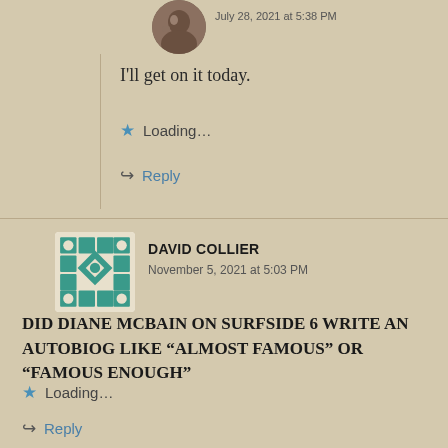July 28, 2021 at 5:38 PM
I’ll get on it today.
Loading…
Reply
DAVID COLLIER
November 5, 2021 at 5:03 PM
DID DIANE McBAIN ON SURFSIDE 6 WRITE AN AUTOBIOG LIKE “ALMOST FAMOUS” OR “FAMOUS ENOUGH”
Loading…
Reply